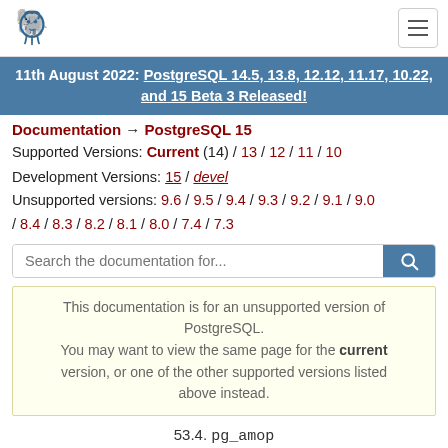[Figure (logo): PostgreSQL elephant logo in top-left navigation bar]
11th August 2022: PostgreSQL 14.5, 13.8, 12.12, 11.17, 10.22, and 15 Beta 3 Released!
Documentation → PostgreSQL 15
Supported Versions: Current (14) / 13 / 12 / 11 / 10
Development Versions: 15 / devel
Unsupported versions: 9.6 / 9.5 / 9.4 / 9.3 / 9.2 / 9.1 / 9.0 / 8.4 / 8.3 / 8.2 / 8.1 / 8.0 / 7.4 / 7.3
Search the documentation for...
This documentation is for an unsupported version of PostgreSQL. You may want to view the same page for the current version, or one of the other supported versions listed above instead.
53.4. pg_amop
Prev  Up  Chapter 53. System Catalogs  Home  Next